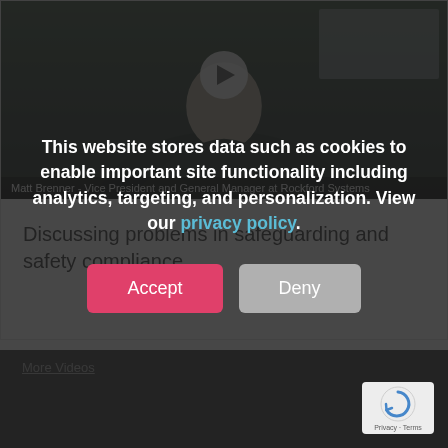[Figure (screenshot): Video thumbnail showing a person (Matt Brenner) seated indoors with a play button overlay. Caption bar at bottom reads: Matt Brenner - Vice President and General Manager at Rockford Systems]
Matt Brenner - Vice President and General Manager at Rockford Systems
Discussing problems in safeguarding and safety compliance
More Videos
This website stores data such as cookies to enable important site functionality including analytics, targeting, and personalization. View our privacy policy.